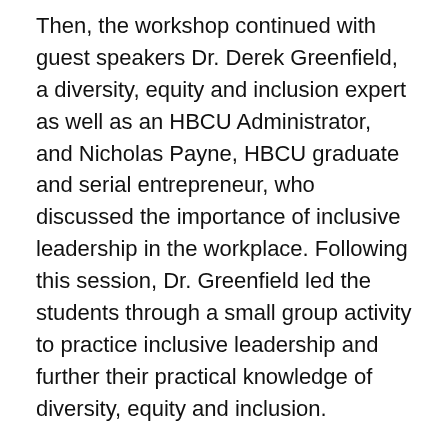Then, the workshop continued with guest speakers Dr. Derek Greenfield, a diversity, equity and inclusion expert as well as an HBCU Administrator, and Nicholas Payne, HBCU graduate and serial entrepreneur, who discussed the importance of inclusive leadership in the workplace. Following this session, Dr. Greenfield led the students through a small group activity to practice inclusive leadership and further their practical knowledge of diversity, equity and inclusion.
“At, Papa Johns, we celebrate everyone’s unique flavor,” said Papa Johns Director of